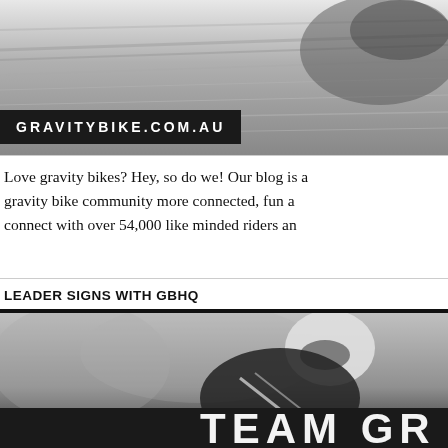[Figure (photo): Black and white action photo of a gravity bike racer on a road, motion blur in background, upper portion of page]
GRAVITYBIKE.COM.AU
Love gravity bikes? Hey, so do we! Our blog is a gravity bike community more connected, fun a connect with over 54,000 like minded riders an
LEADER SIGNS WITH GBHQ
[Figure (photo): Black and white photo of a gravity bike racer in full leathers and helmet in a tuck position, with TEAM GR text overlay at bottom]